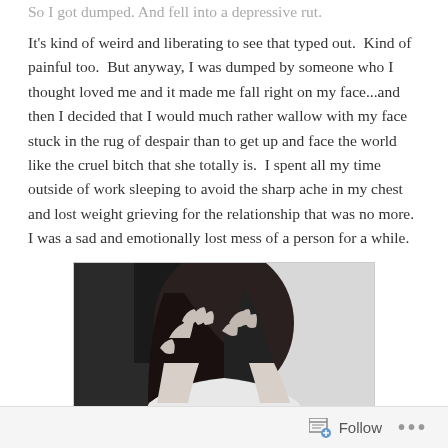So I got dumped. And fell into a depressive rut.
It's kind of weird and liberating to see that typed out.  Kind of painful too.  But anyway, I was dumped by someone who I thought loved me and it made me fall right on my face...and then I decided that I would much rather wallow with my face stuck in the rug of despair than to get up and face the world like the cruel bitch that she totally is.  I spent all my time outside of work sleeping to avoid the sharp ache in my chest and lost weight grieving for the relationship that was no more.  I was a sad and emotionally lost mess of a person for a while.
[Figure (photo): Black and white photograph of a person with dark hair covering their face with both hands, wearing a white knit sweater, sitting in front of what appears to be a dark frame or window.]
Follow ...